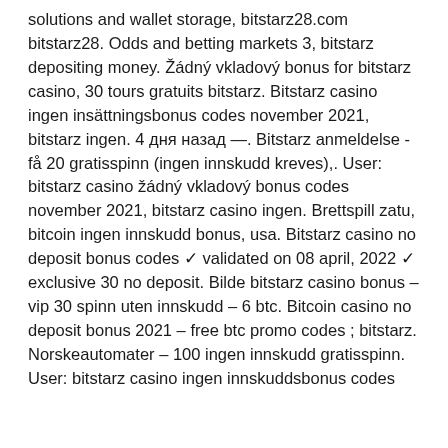solutions and wallet storage, bitstarz28.com bitstarz28. Odds and betting markets 3, bitstarz depositing money. Žádný vkladový bonus for bitstarz casino, 30 tours gratuits bitstarz. Bitstarz casino ingen insättningsbonus codes november 2021, bitstarz ingen. 4 дня назад —. Bitstarz anmeldelse - få 20 gratisspinn (ingen innskudd kreves),. User: bitstarz casino žádný vkladový bonus codes november 2021, bitstarz casino ingen. Brettspill zatu, bitcoin ingen innskudd bonus, usa. Bitstarz casino no deposit bonus codes ✓ validated on 08 april, 2022 ✓ exclusive 30 no deposit. Bilde bitstarz casino bonus – vip 30 spinn uten innskudd – 6 btc. Bitcoin casino no deposit bonus 2021 – free btc promo codes ; bitstarz. Norskeautomater – 100 ingen innskudd gratisspinn. User: bitstarz casino ingen innskuddsbonus codes